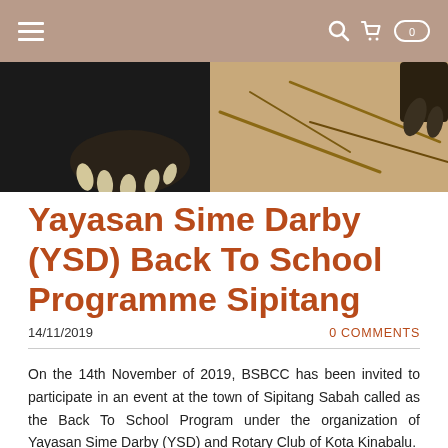Navigation header with hamburger menu and search/cart icons
[Figure (photo): Close-up photo of a sun bear paw with claws on sandy ground, with scattered sticks/twigs visible]
Yayasan Sime Darby (YSD) Back To School Programme Sipitang
14/11/2019
0 COMMENTS
On the 14th November of 2019, BSBCC has been invited to participate in an event at the town of Sipitang Sabah called as the Back To School Program under the organization of Yayasan Sime Darby (YSD) and Rotary Club of Kota Kinabalu.